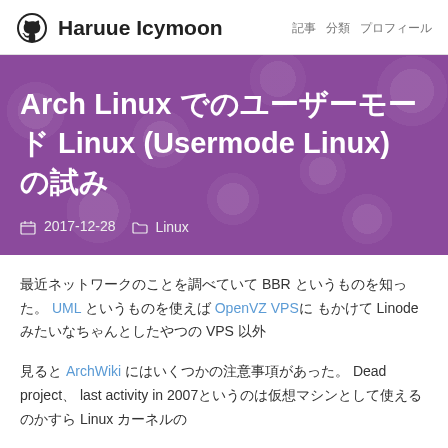Haruue Icymoon　記事　分類　プロフィール
Arch Linux でのユーザーモード Linux (Usermode Linux) の試み
2017-12-28　Linux
最近ネットワークのことを調べていて BBR というものを知った。 UML というものを使えば OpenVZ VPSにも かけて Linode みたいなちゃんとしたやつの VPS 以外
見ると ArchWiki にはいくつかの注意事項があった。 Dead project、 last activity in 2007というのは仮想マシンとして使えるのかすら Linux カーネルの